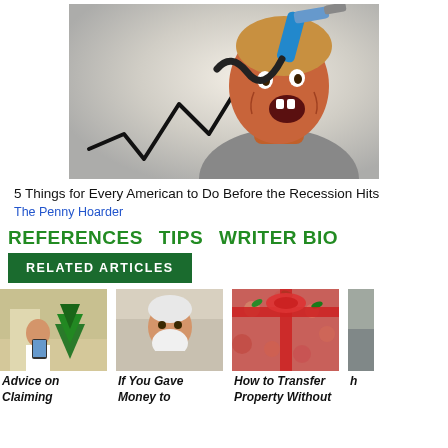[Figure (illustration): Stylized illustration of a man screaming with a blue gas pump nozzle pointed at his head, and a zigzag price chart in the foreground, on a gray gradient background.]
5 Things for Every American to Do Before the Recession Hits
The Penny Hoarder
REFERENCES   TIPS   WRITER BIO
RELATED ARTICLES
[Figure (photo): Photo of a person in a church or indoor setting with a Christmas tree, appearing to look at a phone or tablet.]
Advice on Claiming
[Figure (photo): Photo of an older man with a white beard sitting indoors, appearing thoughtful.]
If You Gave Money to
[Figure (photo): Photo showing wrapped gift boxes with red ribbon and holiday floral pattern.]
How to Transfer Property Without
[Figure (photo): Partially visible photo, cropped on the right edge.]